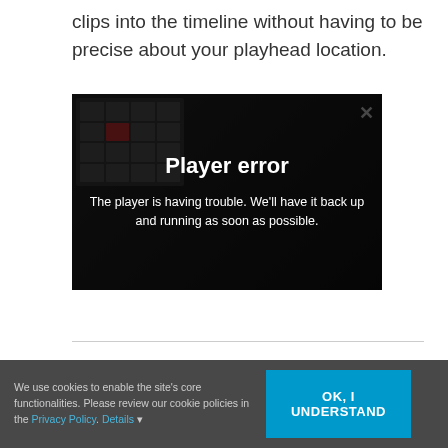clips into the timeline without having to be precise about your playhead location.
[Figure (screenshot): Video player showing a Player error message overlay on a dark background with keyboard controller visible. The error message reads: 'Player error — The player is having trouble. We'll have it back up and running as soon as possible.' A close (X) button is in the top right corner of the player.]
We use cookies to enable the site's core functionalities. Please review our cookie policies in the Privacy Policy. Details ▾
OK, I UNDERSTAND